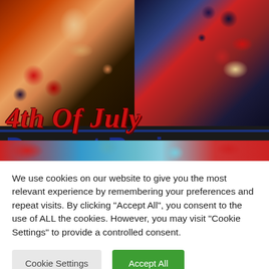[Figure (photo): 4th of July Dessert Recipes book cover image showing two food photos side by side: left shows star-shaped pastries with strawberries and blueberries, right shows chocolate cups with cream and berries. Overlaid script text reads '4th Of July' in red italic font, with a blue bar separator, then 'Dessert Recipes' in large dark blue bold font, and a bottom strip showing colorful desserts.]
We use cookies on our website to give you the most relevant experience by remembering your preferences and repeat visits. By clicking “Accept All”, you consent to the use of ALL the cookies. However, you may visit "Cookie Settings" to provide a controlled consent.